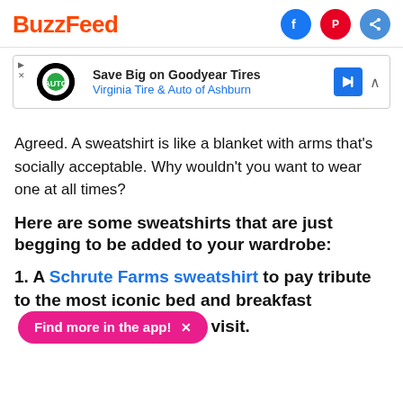BuzzFeed
[Figure (other): Advertisement banner: Save Big on Goodyear Tires - Virginia Tire & Auto of Ashburn]
Agreed. A sweatshirt is like a blanket with arms that's socially acceptable. Why wouldn't you want to wear one at all times?
Here are some sweatshirts that are just begging to be added to your wardrobe:
1. A Schrute Farms sweatshirt to pay tribute to the most iconic bed and breakfast [Find more in the app! X] visit.